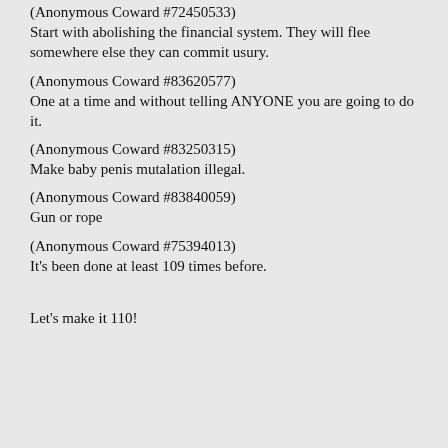(Anonymous Coward #72450533)
Start with abolishing the financial system. They will flee somewhere else they can commit usury.
(Anonymous Coward #83620577)
One at a time and without telling ANYONE you are going to do it.
(Anonymous Coward #83250315)
Make baby penis mutalation illegal.
(Anonymous Coward #83840059)
Gun or rope
(Anonymous Coward #75394013)
It's been done at least 109 times before.
Let's make it 110!